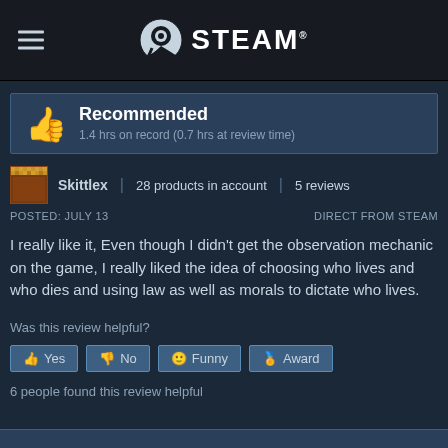STEAM
Recommended
1.4 hrs on record (0.7 hrs at review time)
Skittlex | 28 products in account | 5 reviews
POSTED: JULY 13
DIRECT FROM STEAM
I really like it, Even though I didn't get the observation mechanic on the game, I really liked the idea of choosing who lives and who dies and using law as well as morals to dictate who lives.
Was this review helpful?
Yes | No | Funny | Award
6 people found this review helpful